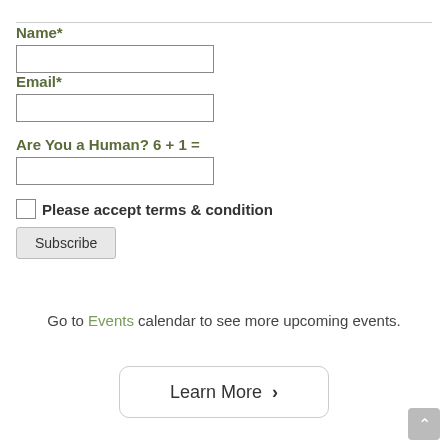Name*
Email*
Are You a Human? 6 + 1 =
Please accept terms & condition
Subscribe
Go to Events calendar to see more upcoming events.
Learn More >